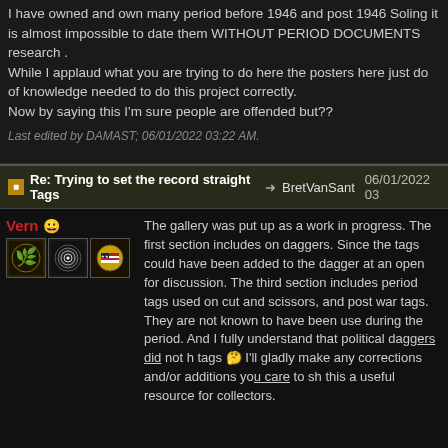I have owned and own many period before 1946 and post 1946 Soling it is almost impossible to date them WITHOUT PERIOD DOCUMENTS research . While I applaud what you are trying to do here the posters here just do of knowledge needed to do this project correctly. Now by saying this I'm sure people are offended but??
Last edited by DAMAST; 06/01/2022 03:22 AM.
Re: Trying to set the record straight Tags → BretVanSant 06/01/2022 03
Vern
[Figure (illustration): Three forum badges/icons for user Vern: a gold laurel wreath badge, a circular target/bullseye badge, and an American flag coin badge]
The gallery was put up as a work in progress. The first section includes on daggers. Since the tags could have been added to the dagger at an open for discussion. The third section includes period tags used on cut and scissors, and post war tags. They are not known to have been use during the period. And I fully understand that political daggers did not h tags 🤔 I'll gladly make any corrections and/or additions you care to sh this a useful resource for collectors.